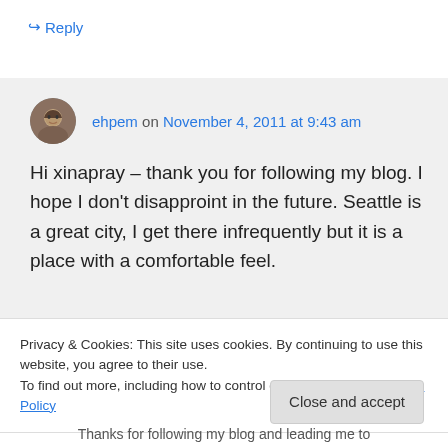↪ Reply
ehpem on November 4, 2011 at 9:43 am
Hi xinapray – thank you for following my blog. I hope I don't disapproint in the future. Seattle is a great city, I get there infrequently but it is a place with a comfortable feel.
Privacy & Cookies: This site uses cookies. By continuing to use this website, you agree to their use.
To find out more, including how to control cookies, see here: Cookie Policy
Close and accept
Thanks for following my blog and leading me to